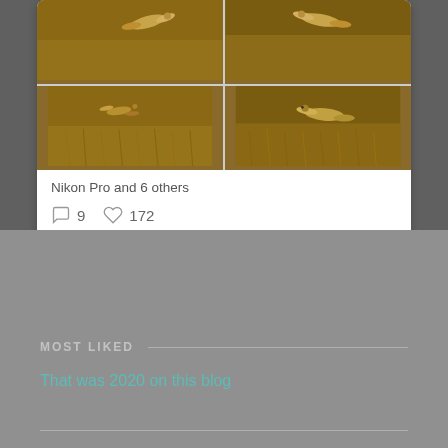[Figure (photo): 2x2 grid of bird-in-flight photos over golden grass field background]
Nikon Pro and 6 others
9  172
MOST LIKED
That was 2020 on this blog